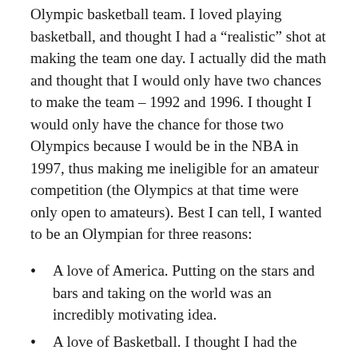Olympic basketball team. I loved playing basketball, and thought I had a “realistic” shot at making the team one day. I actually did the math and thought that I would only have two chances to make the team – 1992 and 1996. I thought I would only have the chance for those two Olympics because I would be in the NBA in 1997, thus making me ineligible for an amateur competition (the Olympics at that time were only open to amateurs). Best I can tell, I wanted to be an Olympian for three reasons:
A love of America. Putting on the stars and bars and taking on the world was an incredibly motivating idea.
A love of Basketball. I thought I had the skills to compete.
By the time 1992 rolled around, I no longer lived in Bartlesville… and I no longer thought I could be an